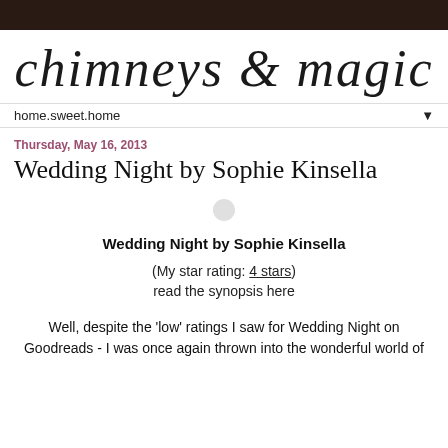chimneys & magic
home.sweet.home ▼
Thursday, May 16, 2013
Wedding Night by Sophie Kinsella
Wedding Night by Sophie Kinsella
(My star rating: 4 stars)
read the synopsis here
Well, despite the 'low' ratings I saw for Wedding Night on Goodreads - I was once again thrown into the wonderful world of